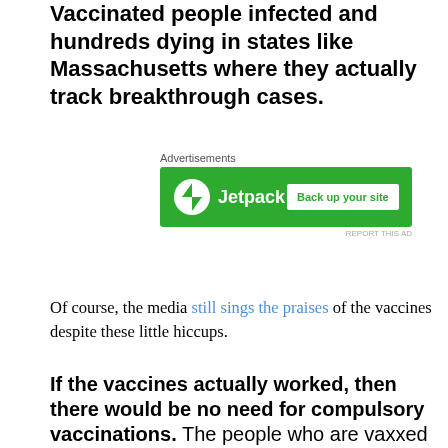Vaccinated people infected and hundreds dying in states like Massachusetts where they actually track breakthrough cases.
[Figure (screenshot): Jetpack advertisement banner with green background showing Jetpack logo and 'Back up your site' button]
Of course, the media still sings the praises of the vaccines despite these little hiccups.
If the vaccines actually worked, then there would be no need for compulsory vaccinations. The people who are vaxxed would
[Figure (screenshot): Ulta Beauty advertisement banner showing cosmetics and makeup imagery with 'SHOP NOW' button]